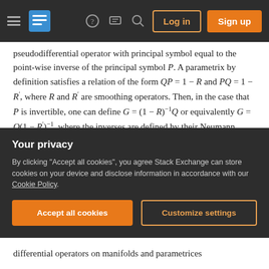Stack Exchange navigation bar with hamburger menu, logo, help, chat, search icons, Log in and Sign up buttons
pseudodifferential operator with principal symbol equal to the point-wise inverse of the principal symbol P. A parametrix by definition satisfies a relation of the form QP = 1 − R and PQ = 1 − R′, where R and R′ are smoothing operators. Then, in the case that P is invertible, one can define G = (1 − R)^{−1}Q or equivalently G = Q(1 − R′)^{−1}, where the inverses are defined by their Neumann series, e.g., (1 − R)^{−1} = 1 + R + R^2 + R^3 + ⋯. The idea is that a smoothing operator can be considered a small perturbation of the identity operator, so that
Your privacy
By clicking "Accept all cookies", you agree Stack Exchange can store cookies on your device and disclose information in accordance with our Cookie Policy.
differential operators on manifolds and parametrices